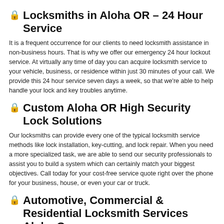🔒 Locksmiths in Aloha OR – 24 Hour Service
It is a frequent occurrence for our clients to need locksmith assistance in non-business hours. That is why we offer our emergency 24 hour lockout service. At virtually any time of day you can acquire locksmith service to your vehicle, business, or residence within just 30 minutes of your call. We provide this 24 hour service seven days a week, so that we're able to help handle your lock and key troubles anytime.
🔒 Custom Aloha OR High Security Lock Solutions
Our locksmiths can provide every one of the typical locksmith service methods like lock installation, key-cutting, and lock repair. When you need a more specialized task, we are able to send our security professionals to assist you to build a system which can certainly match your biggest objectives. Call today for your cost-free service quote right over the phone for your business, house, or even your car or truck.
🔒 Automotive, Commercial & Residential Locksmith Services Aloha Oregon
Aloha Locksmith is your number one source in Aloha, OR for lock and key services.  We have the best locksmiths in Aloha Oregon with years of experience and offer great customer service to all of our customers.  All of